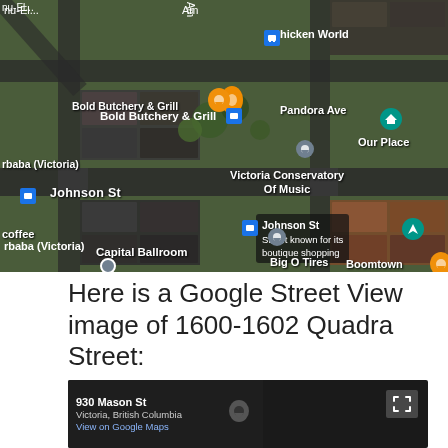[Figure (map): Google Maps aerial/satellite view of Victoria, BC showing streets including Johnson St, Pandora Ave, and landmarks including Bold Butchery & Grill, Victoria Conservatory Of Music, Capital Ballroom, Big O Tires, Chicken World, Our Place, and Johnson St street known for its boutique shopping.]
Here is a Google Street View image of 1600-1602 Quadra Street:
[Figure (screenshot): Google Street View screenshot showing a dark scene. Info panel on left shows address: 930 Mason St, Victoria, British Columbia, View on Google Maps. Expand icon on upper right.]